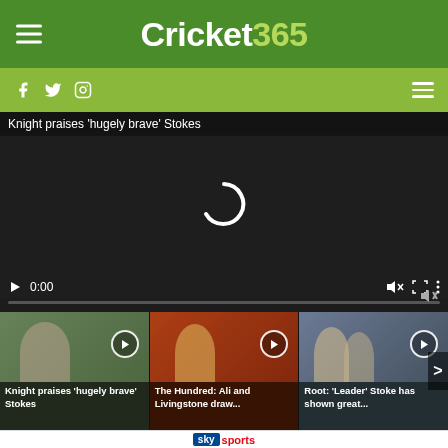Cricket 365
[Figure (screenshot): Video player showing 'Knight praises hugely brave Stokes' with loading spinner, controls showing 0:00, and three thumbnail previews below]
Knight praises 'hugely brave' Stokes
Knight praises 'hugely brave' Stokes
The Hundred: Ali and Livingstone draw...
Root: 'Leader' Stoke has shown great...
sky sports